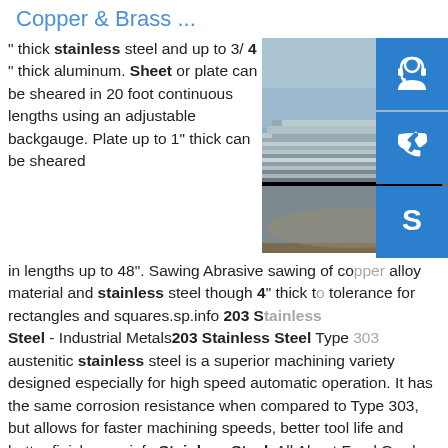Copper & Brass ...
" thick stainless steel and up to 3/ 4 " thick aluminum. Sheet or plate can be sheared in 20 foot continuous lengths using an adjustable backgauge. Plate up to 1" thick can be sheared in lengths up to 48". Sawing Abrasive sawing of copper alloy material and stainless steel though 4" thick to tolerance for rectangles and squares.sp.info 203 Stainless Steel - Industrial Metals203 Stainless Steel Type austenitic stainless steel is a superior machining variety designed especially for high speed automatic operation. It has the same corrosion resistance when compared to Type 303, but allows for faster machining speeds, better tool life and better finishes.sp.info Stainless Steel: All About Food Grade 304, 18/8 and 18/10 ...For example, 18/8 stainless steel is comprised of 18% chromium and
[Figure (photo): Stack of metal sheets/plates photographed from the side, showing layered metallic edges]
[Figure (infographic): Blue icon button with headset/customer support icon]
[Figure (infographic): Blue icon button with telephone/phone icon]
[Figure (infographic): Blue icon button with Skype logo icon]